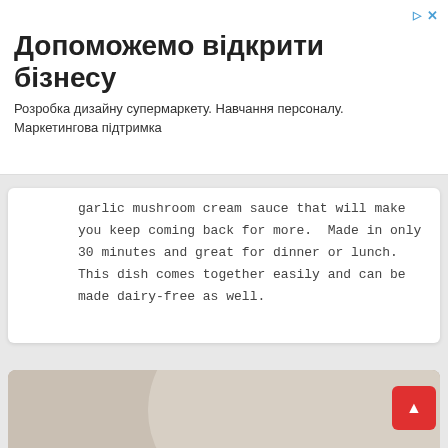[Figure (infographic): Advertisement banner in Ukrainian: 'Допоможемо відкрити бізнесу' (Help opening a business). Subtitle: 'Розробка дизайну супермаркету. Навчання персоналу. Маркетингова підтримка'. Has close (×) and forward (▷) icons top right.]
garlic mushroom cream sauce that will make you keep coming back for more. Made in only 30 minutes and great for dinner or lunch. This dish comes together easily and can be made dairy-free as well.
[Figure (photo): Food photo of Karaage Japanese Fried Chicken in a dark bowl with a lemon wedge. White text overlay reads 'Crispy & Delicious' (italic) and 'Karaage Japanese Fried Chicken' (bold) centered on the image.]